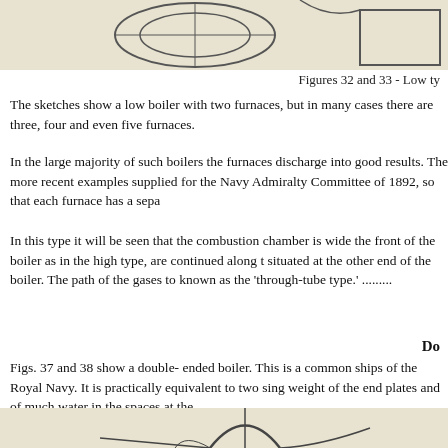[Figure (engineering-diagram): Top portion of a technical engineering diagram showing a low-type boiler cross-section with circular elements, cropped at page top]
Figures 32 and 33 - Low ty
The sketches show a low boiler with two furnaces, but in many cases there are three, four and even five furnaces.
In the large majority of such boilers the furnaces discharge into good results. The more recent examples supplied for the Navy Admiralty Committee of 1892, so that each furnace has a sepa
In this type it will be seen that the combustion chamber is wide the front of the boiler as in the high type, are continued along t situated at the other end of the boiler. The path of the gases to known as the 'through-tube type.' .........
Do
Figs. 37 and 38 show a double- ended boiler. This is a common ships of the Royal Navy. It is practically equivalent to two sing weight of the end plates and of much water in the spaces at the
[Figure (engineering-diagram): Bottom portion of a technical engineering diagram showing a double-ended boiler cross-section, cropped at page bottom]